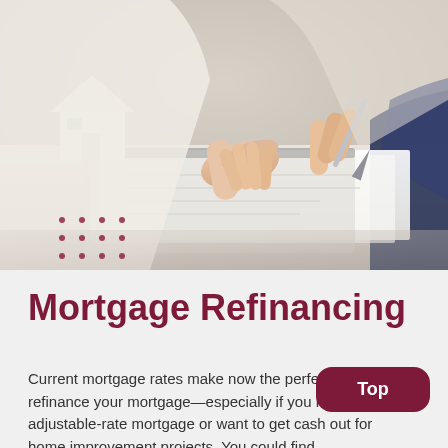[Figure (photo): Photo of two people at a desk reviewing mortgage/loan documents with a small model house in the background. One person points at papers while the other holds a pen to sign.]
Mortgage Refinancing
Current mortgage rates make now the perfect time to refinance your mortgage—especially if you have an adjustable-rate mortgage or want to get cash out for home improvement projects. You could find